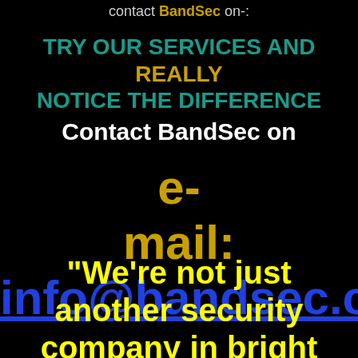contact BandSec on-:
TRY OUR SERVICES AND REALLY NOTICE THE DIFFERENCE
Contact BandSec on
e-mail: info@bandsec.c
"We're not just another security company in bright